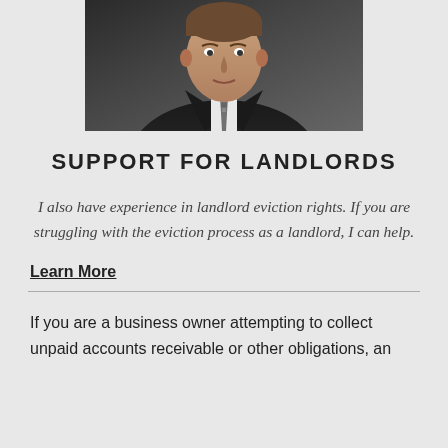[Figure (photo): Professional headshot of a man in a dark suit, white shirt, and patterned tie]
SUPPORT FOR LANDLORDS
I also have experience in landlord eviction rights. If you are struggling with the eviction process as a landlord, I can help.
Learn More
If you are a business owner attempting to collect unpaid accounts receivable or other obligations, an